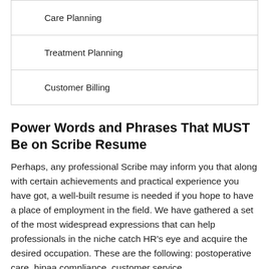| Care Planning |
| Treatment Planning |
| Customer Billing |
Power Words and Phrases That MUST Be on Scribe Resume
Perhaps, any professional Scribe may inform you that along with certain achievements and practical experience you have got, a well-built resume is needed if you hope to have a place of employment in the field. We have gathered a set of the most widespread expressions that can help professionals in the niche catch HR's eye and acquire the desired occupation. These are the following: postoperative care, hipaa compliance, customer service.